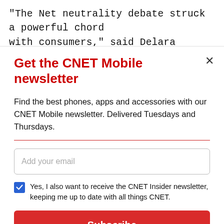"The Net neutrality debate struck a powerful chord with consumers," said Delara Derakhshani, policy counsel for Consumers Union. "And policymakers took
Get the CNET Mobile newsletter
Find the best phones, apps and accessories with our CNET Mobile newsletter. Delivered Tuesdays and Thursdays.
Add your email
Yes, I also want to receive the CNET Insider newsletter, keeping me up to date with all things CNET.
Subscribe
By signing up, you agree to our Terms of Use and acknowledge the data practices in our Privacy Policy. You may unsubscribe at any time.